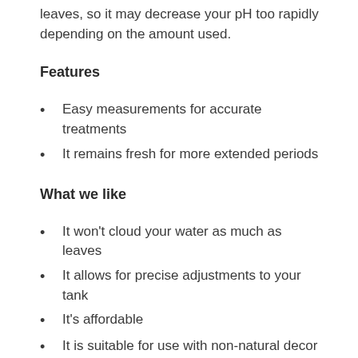leaves, so it may decrease your pH too rapidly depending on the amount used.
Features
Easy measurements for accurate treatments
It remains fresh for more extended periods
What we like
It won't cloud your water as much as leaves
It allows for precise adjustments to your tank
It's affordable
It is suitable for use with non-natural decor
What we don't like